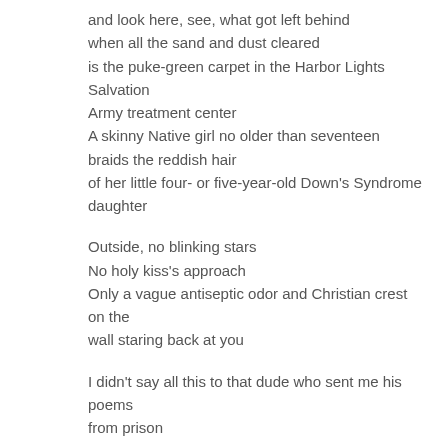and look here, see, what got left behind
when all the sand and dust cleared
is the puke-green carpet in the Harbor Lights Salvation Army treatment center
A skinny Native girl no older than seventeen
braids the reddish hair
of her little four- or five-year-old Down's Syndrome daughter

Outside, no blinking stars
No holy kiss's approach
Only a vague antiseptic odor and Christian crest on the wall staring back at you

I didn't say all this to that dude who sent me his poems from prison

You want everyone to feel empowered